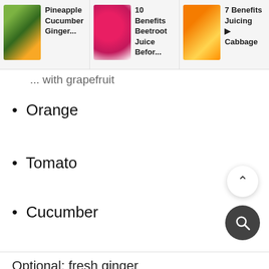Pineapple Cucumber Ginger... | 10 Benefits Beetroot Juice Befor... | 7 Benefits Juicing Cabbage
...with grapefruit
Orange
Tomato
Cucumber
Optional: fresh ginger